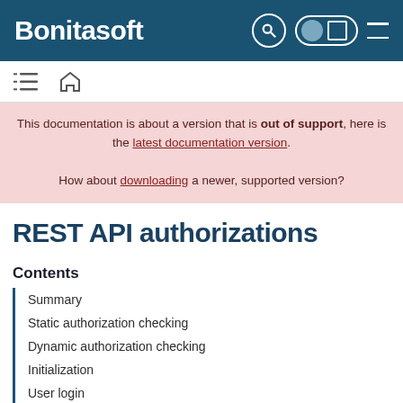Bonitasoft
This documentation is about a version that is out of support, here is the latest documentation version. How about downloading a newer, supported version?
REST API authorizations
Contents
Summary
Static authorization checking
Dynamic authorization checking
Initialization
User login
Runtime behavior
Authorizing access to a custom page